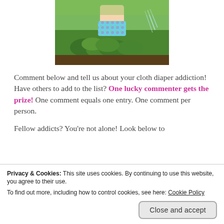[Figure (photo): A young child in a cloth diaper standing in a vegetable garden with leafy green plants, watering]
Comment below and tell us about your cloth diaper addiction! Have others to add to the list? One lucky commenter gets the prize! One comment equals one entry. One comment per person.
Fellow addicts? You're not alone! Look below to
Privacy & Cookies: This site uses cookies. By continuing to use this website, you agree to their use.
To find out more, including how to control cookies, see here: Cookie Policy
Close and accept